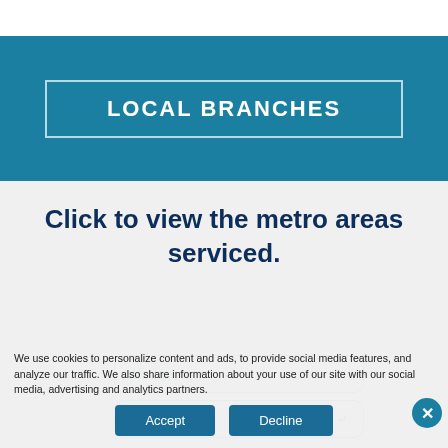LOCAL BRANCHES
Click to view the metro areas serviced.
Albuquerque
SOCIAL
We use cookies to personalize content and ads, to provide social media features, and analyze our traffic. We also share information about your use of our site with our social media, advertising and analytics partners.
Accept
Decline